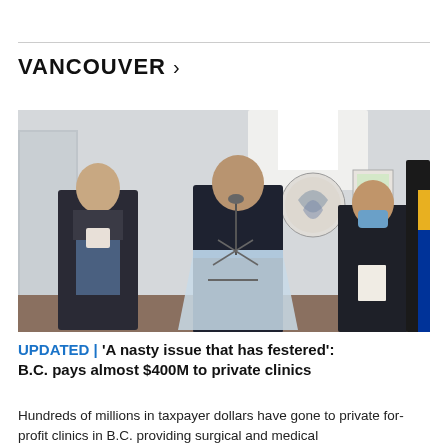VANCOUVER >
[Figure (photo): A man in a dark suit speaks at a clear podium during a press conference. A woman in a blazer stands to his left, and another woman wearing a face mask stands to his right. Artwork is visible on the wall in the background.]
UPDATED | 'A nasty issue that has festered': B.C. pays almost $400M to private clinics
Hundreds of millions in taxpayer dollars have gone to private for-profit clinics in B.C. providing surgical and medical